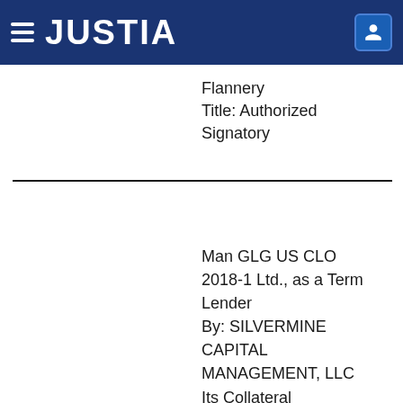JUSTIA
Flannery
Title: Authorized Signatory
Man GLG US CLO 2018-1 Ltd., as a Term Lender
By: SILVERMINE CAPITAL MANAGEMENT, LLC
Its Collateral Manager